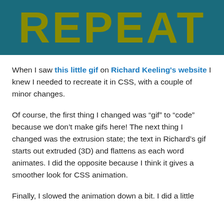[Figure (other): Dark teal banner with the word REPEAT in large bold olive/yellow-green letters]
When I saw this little gif on Richard Keeling's website I knew I needed to recreate it in CSS, with a couple of minor changes.
Of course, the first thing I changed was “gif” to “code” because we don’t make gifs here! The next thing I changed was the extrusion state; the text in Richard’s gif starts out extruded (3D) and flattens as each word animates. I did the opposite because I think it gives a smoother look for CSS animation.
Finally, I slowed the animation down a bit. I did a little